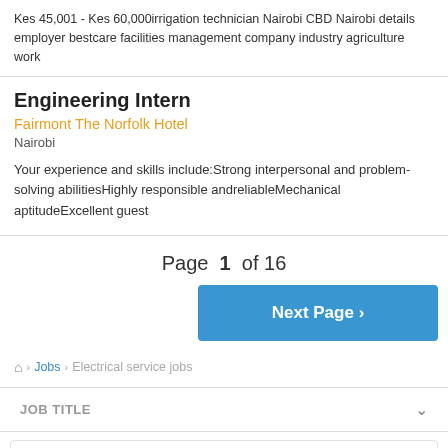Kes 45,001 - Kes 60,000irrigation technician Nairobi CBD Nairobi details employer bestcare facilities management company industry agriculture work
Engineering Intern
Fairmont The Norfolk Hotel
Nairobi
Your experience and skills include:Strong interpersonal and problem-solving abilitiesHighly responsible andreliableMechanical aptitudeExcellent guest
Page 1 of 16
Next Page >
Home > Jobs > Electrical service jobs
JOB TITLE
Management